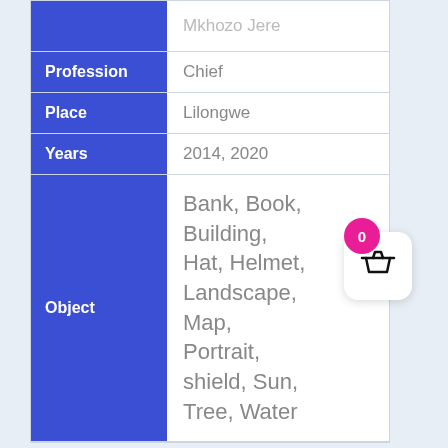|  |  |
| --- | --- |
|  | Mkhozo Jere |
| Profession | Chief |
| Place | Lilongwe |
| Years | 2014, 2020 |
| Object | Bank, Book, Building, Hat, Helmet, Landscape, Map, Portrait, shield, Sun, Tree, Water |